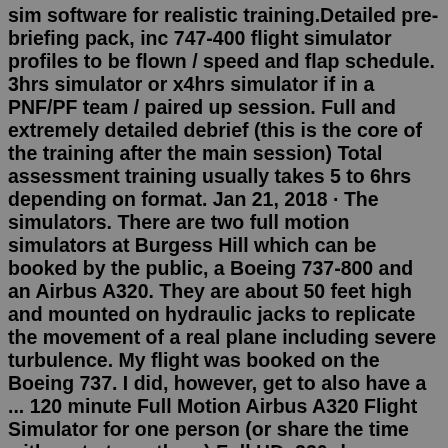sim software for realistic training.Detailed pre-briefing pack, inc 747-400 flight simulator profiles to be flown / speed and flap schedule. 3hrs simulator or x4hrs simulator if in a PNF/PF team / paired up session. Full and extremely detailed debrief (this is the core of the training after the main session) Total assessment training usually takes 5 to 6hrs depending on format. Jan 21, 2018 · The simulators. There are two full motion simulators at Burgess Hill which can be booked by the public, a Boeing 737-800 and an Airbus A320. They are about 50 feet high and mounted on hydraulic jacks to replicate the movement of a real plane including severe turbulence. My flight was booked on the Boeing 737. I did, however, get to also have a ... 120 minute Full Motion Airbus A320 Flight Simulator for one person (or share the time with up to two others) Full HD, 220-degree wrap-around visual system. Welcome drink and briefing. Expert advice from a fully trained A320 pilot. Full 6 axis motion system. Relaxed atmosphere. TRC 472ECM 6DOF Full Motion Flight Simulator